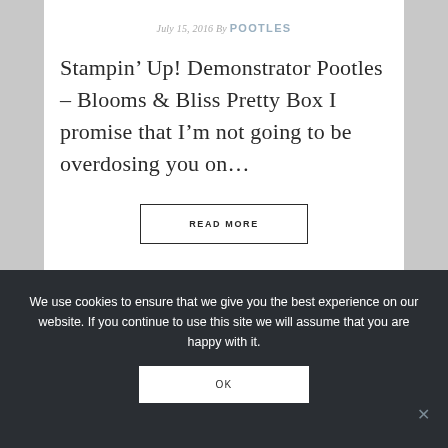July 15, 2016 By POOTLES
Stampin' Up! Demonstrator Pootles – Blooms & Bliss Pretty Box I promise that I'm not going to be overdosing you on...
READ MORE
We use cookies to ensure that we give you the best experience on our website. If you continue to use this site we will assume that you are happy with it.
OK